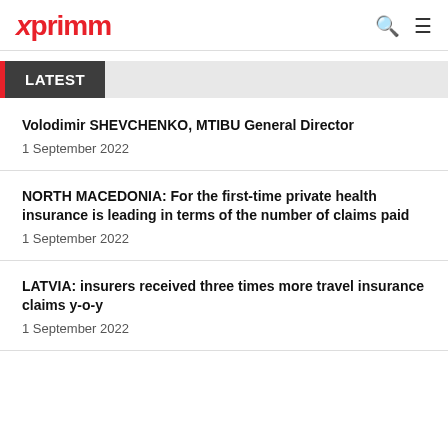xprimm
LATEST
Volodimir SHEVCHENKO, MTIBU General Director
1 September 2022
NORTH MACEDONIA: For the first-time private health insurance is leading in terms of the number of claims paid
1 September 2022
LATVIA: insurers received three times more travel insurance claims y-o-y
1 September 2022